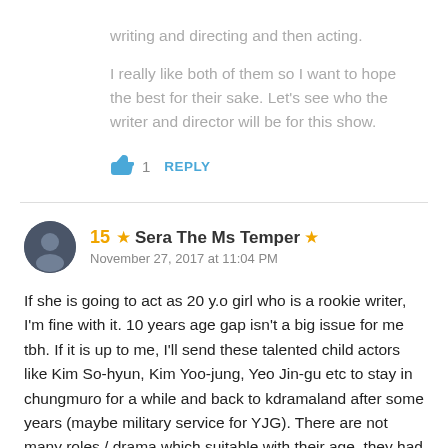writing and directing and then acting.
I really like both of them so I want to hope the best for their sake. Let's see who the writer and director will be for this show.
👍 1   REPLY
15 ★ Sera The Ms Temper ★
November 27, 2017 at 11:04 PM
If she is going to act as 20 y.o girl who is a rookie writer, I'm fine with it. 10 years age gap isn't a big issue for me tbh. If it is up to me, I'll send these talented child actors like Kim So-hyun, Kim Yoo-jung, Yeo Jin-gu etc to stay in chungmuro for a while and back to kdramaland after some years (maybe military service for YJG). There are not many roles / drama which suitable with their age, they had played enough as high school students,